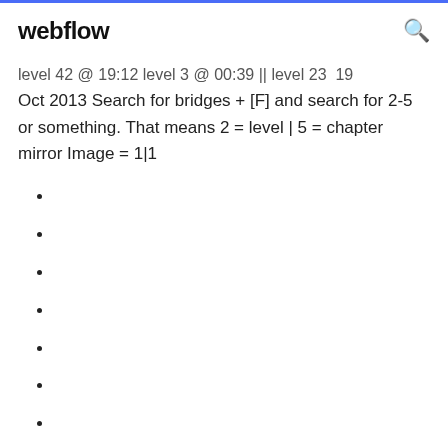webflow
level 42 @ 19:12 level 3 @ 00:39 || level 23  19 Oct 2013 Search for bridges + [F] and search for 2-5 or something. That means 2 = level | 5 = chapter mirror Image = 1|1
209